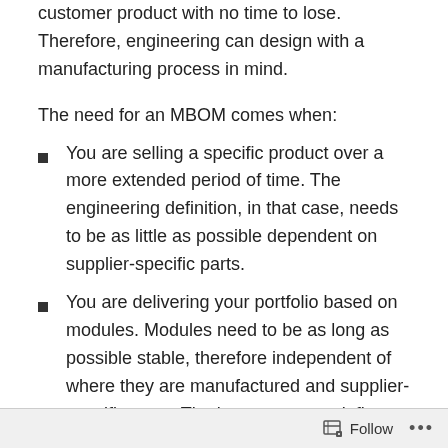customer product with no time to lose. Therefore, engineering can design with a manufacturing process in mind.
The need for an MBOM comes when:
You are selling a specific product over a more extended period of time. The engineering definition, in that case, needs to be as little as possible dependent on supplier-specific parts.
You are delivering your portfolio based on modules. Modules need to be as long as possible stable, therefore independent of where they are manufactured and supplier-specific parts. The better you can define your modules, the more customers you can reach over time.
Follow ...